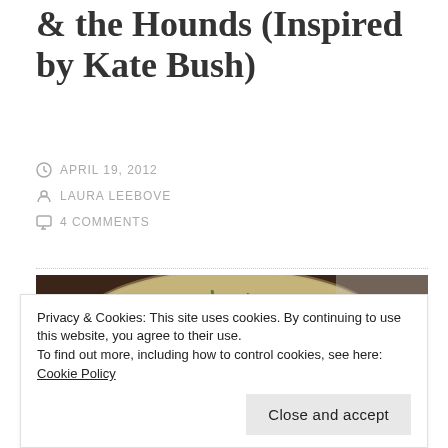& the Hounds (Inspired by Kate Bush)
APRIL 19, 2012
LAURA LEEBOVE
4 COMMENTS
[Figure (photo): Close-up food photo showing what appears to be an egg dish with green herbs on a dark background]
Privacy & Cookies: This site uses cookies. By continuing to use this website, you agree to their use.
To find out more, including how to control cookies, see here: Cookie Policy
Close and accept